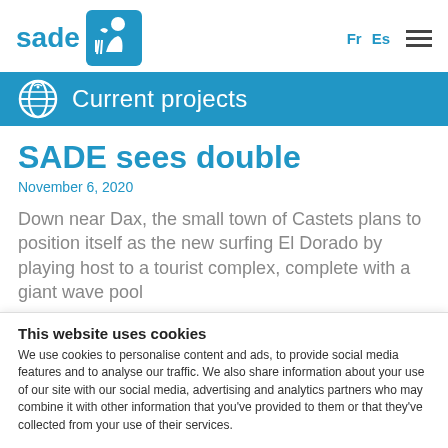sade | Fr Es
Current projects
SADE sees double
November 6, 2020
Down near Dax, the small town of Castets plans to position itself as the new surfing El Dorado by playing host to a tourist complex, complete with a giant wave pool
This website uses cookies
We use cookies to personalise content and ads, to provide social media features and to analyse our traffic. We also share information about your use of our site with our social media, advertising and analytics partners who may combine it with other information that you've provided to them or that they've collected from your use of their services.